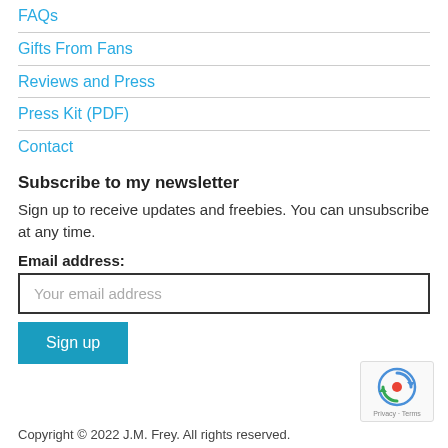FAQs
Gifts From Fans
Reviews and Press
Press Kit (PDF)
Contact
Subscribe to my newsletter
Sign up to receive updates and freebies. You can unsubscribe at any time.
Email address:
Your email address
Sign up
[Figure (logo): reCAPTCHA badge with Google logo, showing 'Privacy · Terms']
Copyright © 2022 J.M. Frey. All rights reserved.